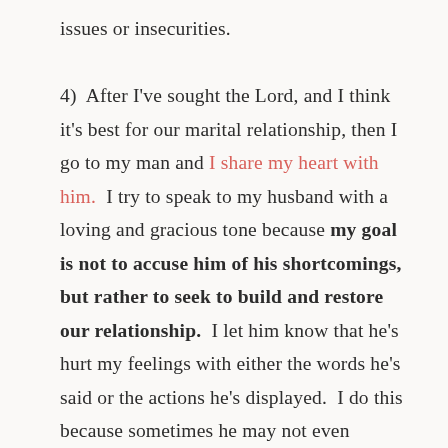issues or insecurities.

4)  After I've sought the Lord, and I think it's best for our marital relationship, then I go to my man and I share my heart with him.  I try to speak to my husband with a loving and gracious tone because my goal is not to accuse him of his shortcomings, but rather to seek to build and restore our relationship.  I let him know that he's hurt my feelings with either the words he's said or the actions he's displayed.  I do this because sometimes he may not even realize that he